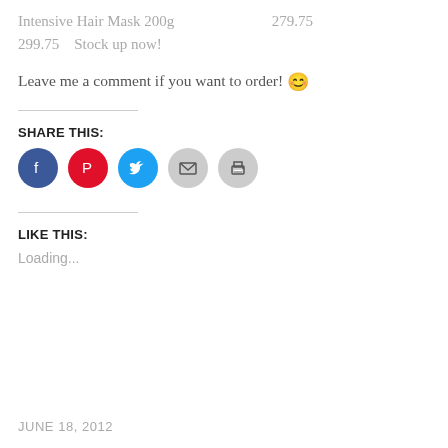Intensive Hair Mask 200g    279.75
299.75    Stock up now!
Leave me a comment if you want to order! 😊
SHARE THIS:
[Figure (other): Social sharing icons: Facebook (blue circle), Pinterest (red circle), Twitter (cyan circle), Email (gray circle), Print (gray circle)]
LIKE THIS:
Loading...
JUNE 18, 2012